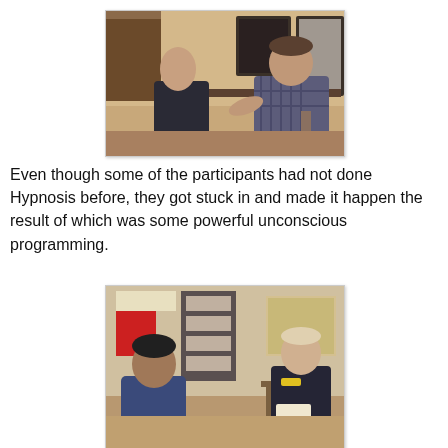[Figure (photo): Two men sitting across from each other at a table in a room with chairs and shelving in the background; one man in a dark suit faces away, the other in a plaid shirt gestures with his hands.]
Even though some of the participants had not done Hypnosis before, they got stuck in and made it happen the result of which was some powerful unconscious programming.
[Figure (photo): Two men in a classroom-like setting; one man in a blue jacket sits in a chair facing another man in a dark suit who holds papers, with colorful posters and a map visible on the walls behind them.]